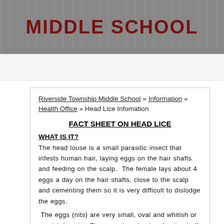MIDDLE SCHOOL
Riverside Township Middle School » Information » Health Office » Head Lice Infomation
FACT SHEET ON HEAD LICE
WHAT IS IT?
The head louse is a small parasitic insect that infests human hair, laying eggs on the hair shafts and feeding on the scalp. The female lays about 4 eggs a day on the hair shafts, close to the scalp and cementing them so it is very difficult to dislodge the eggs.
The eggs (nits) are very small, oval and whitish or grayish in color. They may be mistaken for dandruff, except they are difficult to